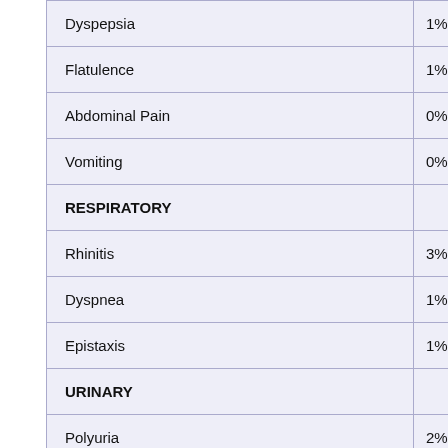| Adverse Event | Rate |
| --- | --- |
| Dyspepsia | 1% |
| Flatulence | 1% |
| Abdominal Pain | 0% |
| Vomiting | 0% |
| RESPIRATORY |  |
| Rhinitis | 3% |
| Dyspnea | 1% |
| Epistaxis | 1% |
| URINARY |  |
| Polyuria | 2% |
| Urinary Incontinence | 1% |